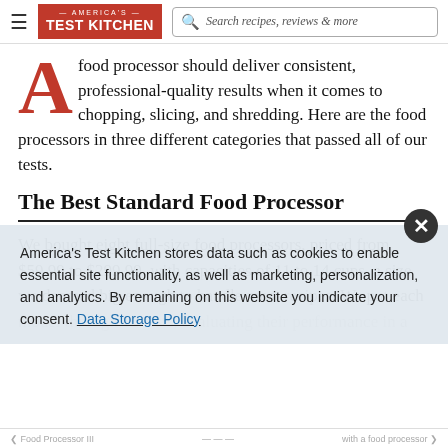America's Test Kitchen — Search recipes, reviews & more
A food processor should deliver consistent, professional-quality results when it comes to chopping, slicing, and shredding. Here are the food processors in three different categories that passed all of our tests.
The Best Standard Food Processor
We bought eight full-size food processors, priced from $59.99 to $299.99, with capacities of 11 to 14 cups, a size we deemed big enough to handle most recipes. We put each model through 10 tests, evaluating their performance in a range of tasks...
America's Test Kitchen stores data such as cookies to enable essential site functionality, as well as marketing, personalization, and analytics. By remaining on this website you indicate your consent. Data Storage Policy